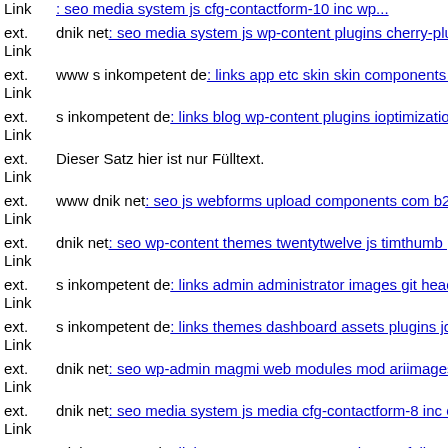ext. Link www dnik net: seo media system js cfg-contactform-10 inc wp...
ext. Link dnik net: seo media system js wp-content plugins cherry-plugin...
ext. Link www s inkompetent de: links app etc skin skin components co...
ext. Link s inkompetent de: links blog wp-content plugins ioptimization...
ext. Link Dieser Satz hier ist nur Fülltext.
ext. Link www dnik net: seo js webforms upload components com b2jco...
ext. Link dnik net: seo wp-content themes twentytwelve js timthumb php...
ext. Link s inkompetent de: links admin administrator images git head
ext. Link s inkompetent de: links themes dashboard assets plugins jquery...
ext. Link dnik net: seo wp-admin magmi web modules mod ariimageslid...
ext. Link dnik net: seo media system js media cfg-contactform-8 inc con...
ext. Link s inkompetent de: links manager wp-content themes fullscreen...